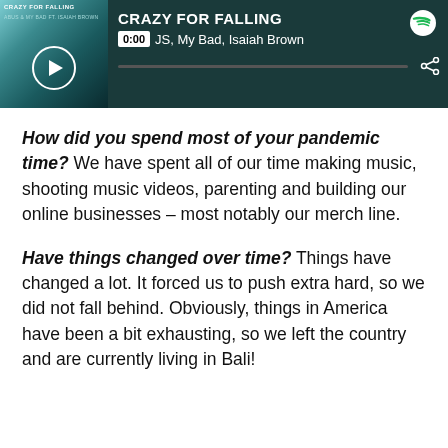[Figure (screenshot): Spotify music player widget showing the track 'Crazy for Falling' by ABUS, My Bad, Isaiah Brown. Displays at 0:00 with a progress bar and share icon, dark teal background, album art on the left, Spotify logo top right.]
How did you spend most of your pandemic time? We have spent all of our time making music, shooting music videos, parenting and building our online businesses – most notably our merch line.
Have things changed over time? Things have changed a lot. It forced us to push extra hard, so we did not fall behind. Obviously, things in America have been a bit exhausting, so we left the country and are currently living in Bali!